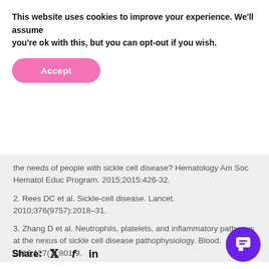This website uses cookies to improve your experience. We'll assume you're ok with this, but you can opt-out if you wish.
Accept
the needs of people with sickle cell disease? Hematology Am Soc Hematol Educ Program. 2015;2015:426-32.
2. Rees DC et al. Sickle-cell disease. Lancet. 2010;376(9757):2018–31.
3. Zhang D et al. Neutrophils, platelets, and inflammatory pathways at the nexus of sickle cell disease pathophysiology. Blood. 2016;127(7):801-9.
4. Verduzco LA, Nathan DG. Sickle cell disease and stroke. Blood. 2009;114(25):5117-25.
Share: